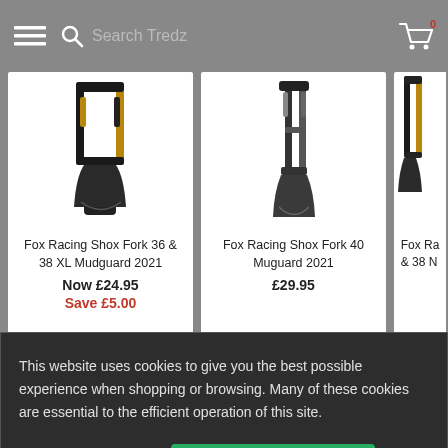☰ 🔍 Search Tredz 🛒 0
[Figure (photo): Fox Racing Shox Fork 36 & 38 XL Mudguard 2021 product image - bicycle fork mudguard in black and gold]
Fox Racing Shox Fork 36 & 38 XL Mudguard 2021
Now £24.95
Save £5.00
[Figure (photo): Fox Racing Shox Fork 40 Muguard 2021 product image - bicycle fork mudguard in dark color]
Fox Racing Shox Fork 40 Muguard 2021
£29.95
Fox Racing Shox Fork ...& 38 M...
£5 OFF VOUCHER
This website uses cookies to give you the best possible experience when shopping or browsing. Many of these cookies are essential to the efficient operation of this site.
Cookies Settings
Accept All Cookies